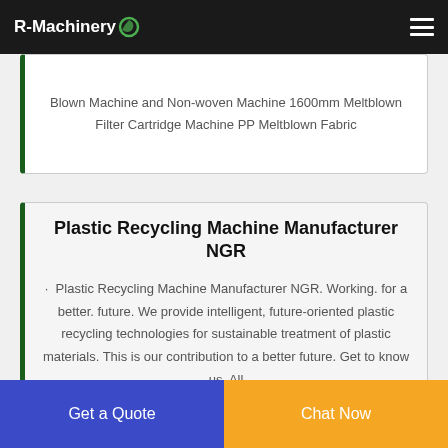R-Machinery
Blown Machine and Non-woven Machine 1600mm Meltblown Filter Cartridge Machine PP Meltblown Fabric
Plastic Recycling Machine Manufacturer NGR
· Plastic Recycling Machine Manufacturer NGR. Working. for a better. future. We provide intelligent, future-oriented plastic recycling technologies for sustainable treatment of plastic materials. This is our contribution to a better future. Get to know us. All
Get a Quote
Chat Now